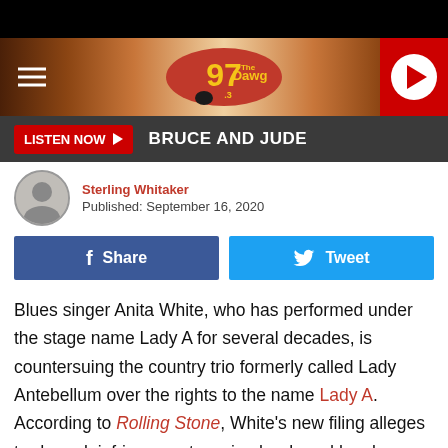[Figure (screenshot): 97.3 The Dawg radio station header banner with logo, hamburger menu, and play button]
LISTEN NOW ▶  BRUCE AND JUDE
Sterling Whitaker
Published: September 16, 2020
[Figure (other): Facebook Share and Twitter Tweet social sharing buttons]
Blues singer Anita White, who has performed under the stage name Lady A for several decades, is countersuing the country trio formerly called Lady Antebellum over the rights to the name Lady A. According to Rolling Stone, White's new filing alleges trademark infringement, saying her brand has been "usurped and set on the path to erasure."